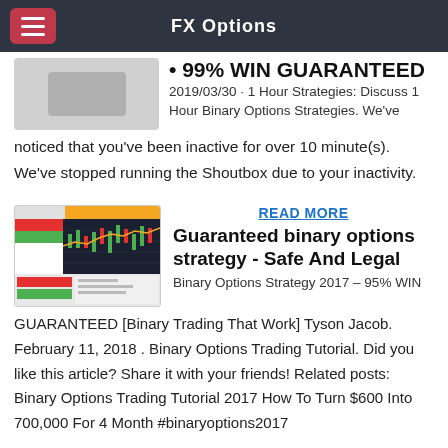FX Options
• 99% WIN GUARANTEED
2019/03/30 · 1 Hour Strategies: Discuss 1 Hour Binary Options Strategies. We've noticed that you've been inactive for over 10 minute(s). We've stopped running the Shoutbox due to your inactivity.
READ MORE
Guaranteed binary options strategy - Safe And Legal
Binary Options Strategy 2017 – 95% WIN GUARANTEED [Binary Trading That Work] Tyson Jacob. February 11, 2018 . Binary Options Trading Tutorial. Did you like this article? Share it with your friends! Related posts: Binary Options Trading Tutorial 2017 How To Turn $600 Into 700,000 For 4 Month #binaryoptions2017